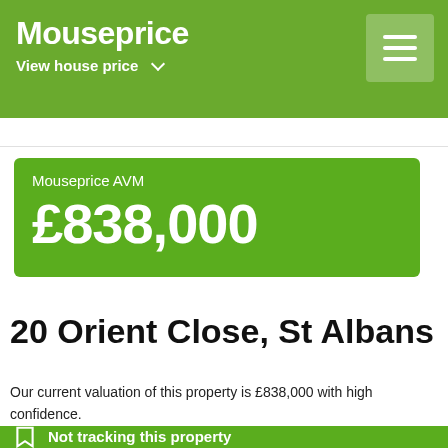Mouseprice
View house price
Mouseprice AVM
£838,000
20 Orient Close, St Albans
Our current valuation of this property is £838,000 with high confidence.
Not tracking this property
And it's not in your portfolio.